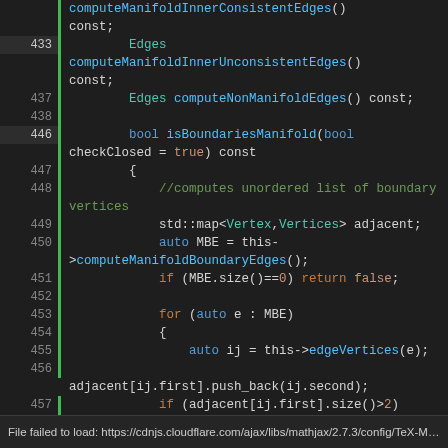[Figure (screenshot): Code editor screenshot showing C++ source code for manifold mesh computation methods, lines 433-463, with syntax highlighting on dark background]
File failed to load: https://cdnjs.cloudflare.com/ajax/libs/mathjax/2.7.3/config/TeX-MML-A...